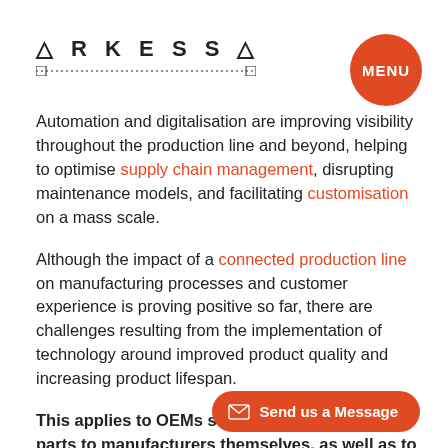ARKESSA | MENU
Automation and digitalisation are improving visibility throughout the production line and beyond, helping to optimise supply chain management, disrupting maintenance models, and facilitating customisation on a mass scale.
Although the impact of a connected production line on manufacturing processes and customer experience is proving positive so far, there are challenges resulting from the implementation of technology around improved product quality and increasing product lifespan.
This applies to OEMs supplying machinery and parts to manufacturers themselves, as well as to consumer goods.